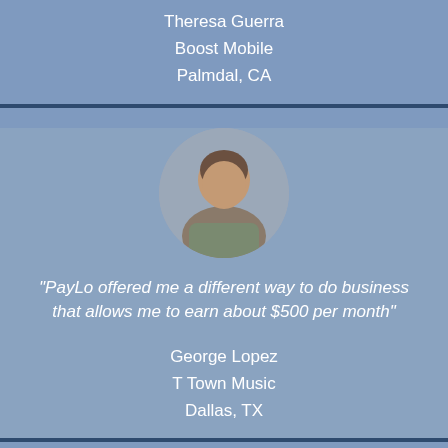Theresa Guerra
Boost Mobile
Palmdal, CA
[Figure (photo): Circular profile photo of George Lopez]
"PayLo offered me a different way to do business that allows me to earn about $500 per month"
George Lopez
T Town Music
Dallas, TX
[Figure (photo): Circular profile photo of next testimonial person, partially visible at bottom]